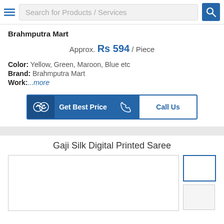Search for Products / Services
Brahmputra Mart
Approx. Rs 594 / Piece
Color: Yellow, Green, Maroon, Blue etc
Brand: Brahmputra Mart
Work: ...more
[Figure (other): Get Best Price and Call Us buttons]
Gaji Silk Digital Printed Saree
[Figure (photo): Main product image placeholder and thumbnail images]